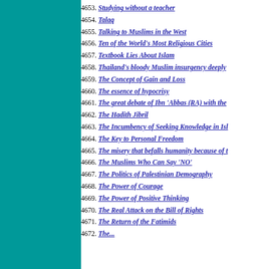4653. Studying without a teacher
4654. Talaq
4655. Talking to Muslims in the West
4656. Ten of the World's Most Religious Cities
4657. Textbook Lies About Islam
4658. Thailand's bloody Muslim insurgency deeply
4659. The Concept of Gain and Loss
4660. The essence of hypocrisy
4661. The great debate of Ibn 'Abbas (RA) with the
4662. The Hadith Jibril
4663. The Incumbency of Seeking Knowledge in Isl
4664. The Key to Personal Freedom
4665. The misery that befalls humanity because of t
4666. The Muslims Who Can Say 'NO'
4667. The Politics of Palestinian Demography
4668. The Power of Courage
4669. The Power of Positive Thinking
4670. The Real Attack on the Bill of Rights
4671. The Return of the Fatimids
4672. The...